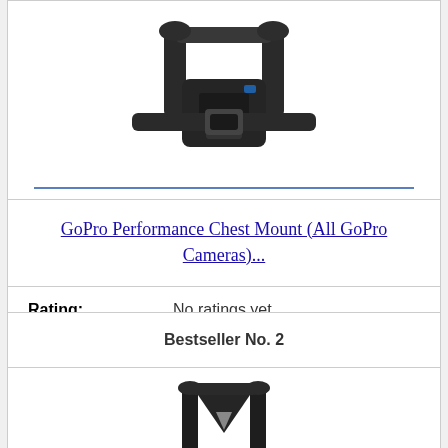[Figure (photo): GoPro Performance Chest Mount product photo on white background — black chest harness with straps and mount hardware]
GoPro Performance Chest Mount (All GoPro Cameras)...
Rating: No ratings yet
🛒 Check Price On Amazon
Bestseller No. 2
[Figure (photo): Second product chest harness/mount product photo on white background — black Y-shaped harness]